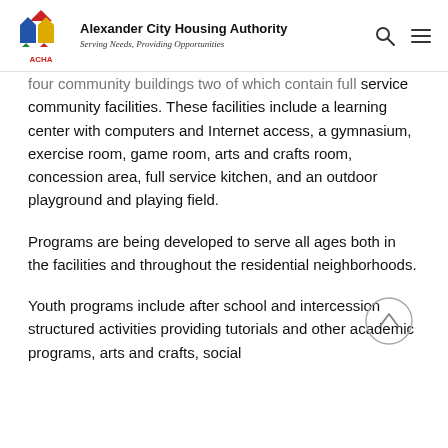Alexander City Housing Authority — Serving Needs, Providing Opportunities
four community buildings two of which contain full service community facilities. These facilities include a learning center with computers and Internet access, a gymnasium, exercise room, game room, arts and crafts room, concession area, full service kitchen, and an outdoor playground and playing field.
Programs are being developed to serve all ages both in the facilities and throughout the residential neighborhoods.
Youth programs include after school and intercession structured activities providing tutorials and other academic programs, arts and crafts, social